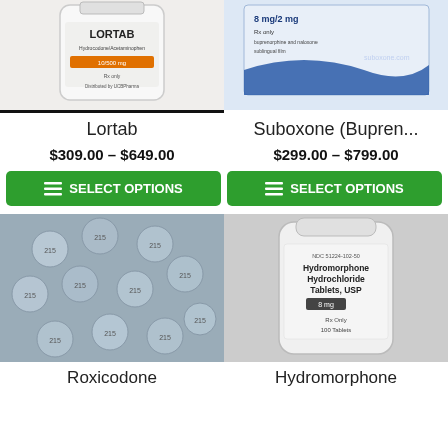[Figure (photo): Photo of Lortab pill bottle, white bottle with label]
[Figure (photo): Photo of Suboxone (Buprenorphine) 8mg/2mg sublingual film box with blue wave design]
Lortab
Suboxone (Bupren...
$309.00 – $649.00
$299.00 – $799.00
SELECT OPTIONS
SELECT OPTIONS
[Figure (photo): Photo of blue/grey round pills stamped with 215, Roxicodone oxycodone tablets]
[Figure (photo): Photo of Hydromorphone Hydrochloride Tablets USP 8mg white pill bottle, 100 tablets]
Roxicodone
Hydromorphone